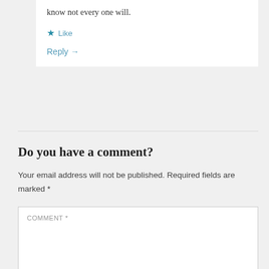know not every one will.
★ Like
Reply →
Do you have a comment?
Your email address will not be published. Required fields are marked *
COMMENT *